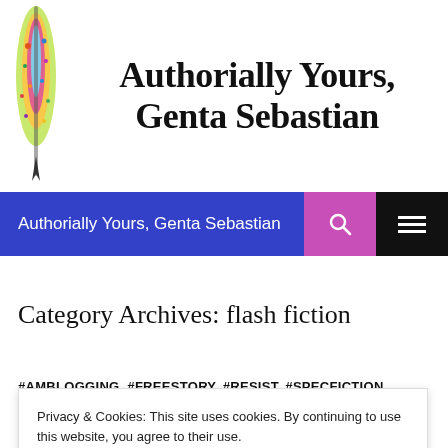[Figure (logo): Authorially Yours, Genta Sebastian blog header logo with colorful quill pen illustration and decorative multicolored text]
Authorially Yours, Genta Sebastian
Category Archives: flash fiction
#AMBLOGGING, #FREESTORY, #RESIST, #SPECFICTION, FLASH FICTION, POLITICS, SHORT FICTION, WRITING
Privacy & Cookies: This site uses cookies. By continuing to use this website, you agree to their use.
To find out more, including how to control cookies, see here: Cookie Policy
Close and accept